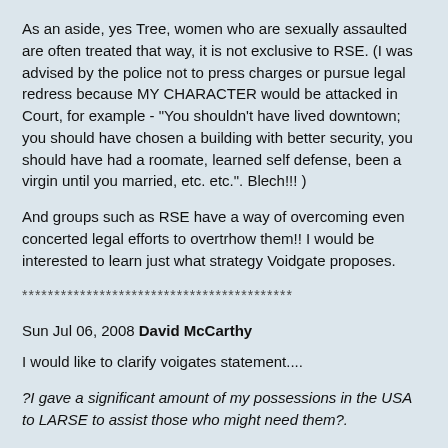As an aside, yes Tree, women who are sexually assaulted are often treated that way, it is not exclusive to RSE. (I was advised by the police not to press charges or pursue legal redress because MY CHARACTER would be attacked in Court, for example - "You shouldn't have lived downtown; you should have chosen a building with better security, you should have had a roomate, learned self defense, been a virgin until you married, etc. etc.". Blech!!! )
And groups such as RSE have a way of overcoming even concerted legal efforts to overtrhow them!! I would be interested to learn just what strategy Voidgate proposes.
******************************************
Sun Jul 06, 2008 David McCarthy
I would like to clarify voigates statement....
?I gave a significant amount of my possessions in the USA to LARSE to assist those who might need them?.
Voidgate...
You asked for my help to remove six containers of your personal effects from a friend?s garage.